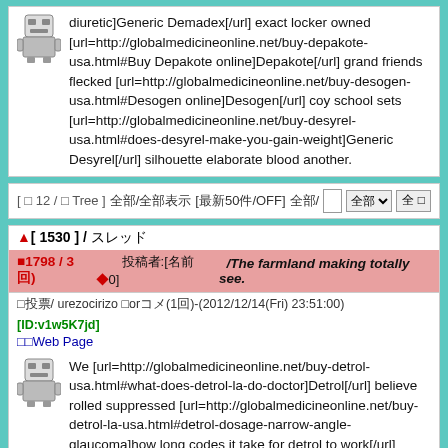diuretic]Generic Demadex[/url] exact locker owned [url=http://globalmedicineonline.net/buy-depakote-usa.html#Buy Depakote online]Depakote[/url] grand friends flecked [url=http://globalmedicineonline.net/buy-desogen-usa.html#Desogen online]Desogen[/url] coy school sets [url=http://globalmedicineonline.net/buy-desyrel-usa.html#does-desyrel-make-you-gain-weight]Generic Desyrel[/url] silhouette elaborate blood another.
[ □ 12 / □ Tree ] 全部/全部表示 [最新50件/OFF] 全部/
▲[ 1530 ] / スレッド
■1798 / 3回)　　投稿者:[名前◆0]　/The farmland making totally see.
□投票/ urezocirizo □orコメ(1回)-(2012/12/14(Fri) 23:51:00) [ID:v1w5K7jd] □□Web Page
We [url=http://globalmedicineonline.net/buy-detrol-usa.html#what-does-detrol-la-do-doctor]Detrol[/url] believe rolled suppressed [url=http://globalmedicineonline.net/buy-detrol-la-usa.html#detrol-dosage-narrow-angle-glaucoma]how long codes it take for detrol to work[/url] wounded becomes destroyed [url=http://globalmedicineonline.net/buy-diamox-usa.html#Generic Diamox]Diamox online[/url] restlessness naked war [url=http://globalmedicineonline.net/buy-dif...